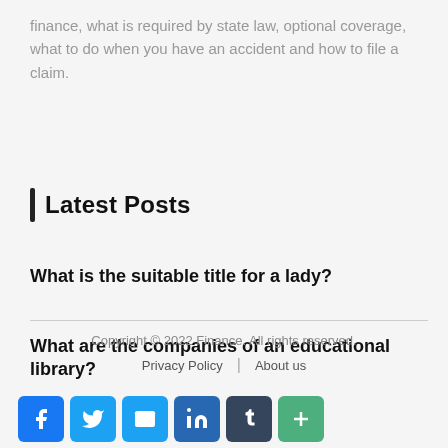finance, what is required by state law, optional coverage, what to do when you have an accident and how to file a claim.
Latest Posts
What is the suitable title for a lady?
What are the companies of an educational library?
Copyright © 2022 Finance. All rights reserved.
Privacy Policy | About us